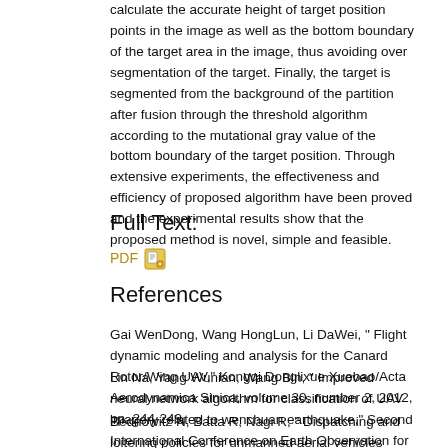calculate the accurate height of target position points in the image as well as the bottom boundary of the target area in the image, thus avoiding over segmentation of the target. Finally, the target is segmented from the background of the partition after fusion through the threshold algorithm according to the mutational gray value of the bottom boundary of the target position. Through extensive experiments, the effectiveness and efficiency of proposed algorithm have been proved and the experimental results show that the proposed method is novel, simple and feasible.
Full Text:
PDF [icon]
References
Gai WenDong, Wang HongLun, Li DaWei, " Flight dynamic modeling and analysis for the Canard Rotor/Wing UAV," Kongqi Donglixue Xuebao/Acta Aerodynamica Sinica, volume 30, number 2, 2012, pp. 244-249.
Lin Na, Yang Wunian, Wang Bin, " Improved neural network algorithm for classification of UAV imagery related to wenchuan earthquake," Second International Conference on Earth Observation for Global Change, volume 7471, 2009.
Bednowitz N, Batta R, Nagi R, " Dispatching and loitering policies for unmanned aerial vehicles under dynamically arriving multiple priority targets," Journal of Simulation, volume 8, number 1, 2014, pp. 9-24.